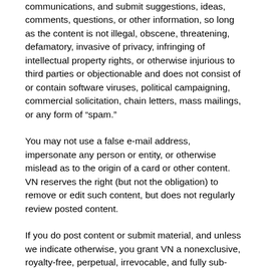communications, and submit suggestions, ideas, comments, questions, or other information, so long as the content is not illegal, obscene, threatening, defamatory, invasive of privacy, infringing of intellectual property rights, or otherwise injurious to third parties or objectionable and does not consist of or contain software viruses, political campaigning, commercial solicitation, chain letters, mass mailings, or any form of “spam.”
You may not use a false e-mail address, impersonate any person or entity, or otherwise mislead as to the origin of a card or other content. VN reserves the right (but not the obligation) to remove or edit such content, but does not regularly review posted content.
If you do post content or submit material, and unless we indicate otherwise, you grant VN a nonexclusive, royalty-free, perpetual, irrevocable, and fully sub-licensable right to use, reproduce, modify, adapt, publish, translate, create derivative works from, distribute, and display such content throughout the world in any media. You grant VN and sub-licensees the right to use the name that you submit in connection with such content, if they choose.